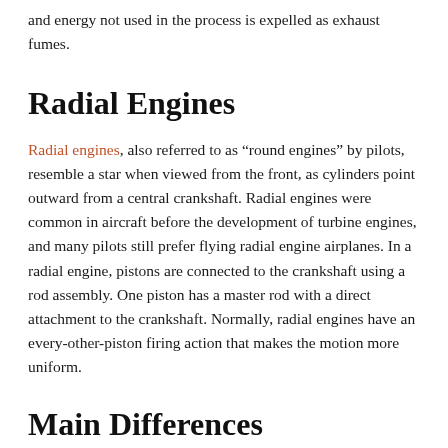and energy not used in the process is expelled as exhaust fumes.
Radial Engines
Radial engines, also referred to as “round engines” by pilots, resemble a star when viewed from the front, as cylinders point outward from a central crankshaft. Radial engines were common in aircraft before the development of turbine engines, and many pilots still prefer flying radial engine airplanes. In a radial engine, pistons are connected to the crankshaft using a rod assembly. One piston has a master rod with a direct attachment to the crankshaft. Normally, radial engines have an every-other-piston firing action that makes the motion more uniform.
Main Differences